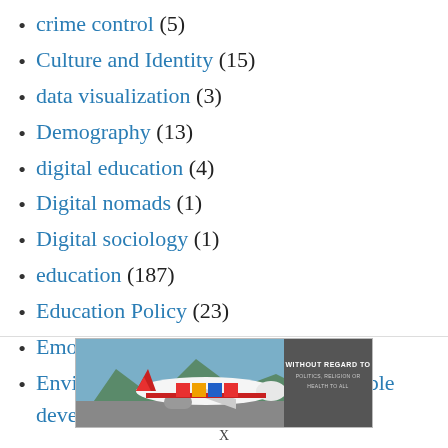crime control (5)
Culture and Identity (15)
data visualization (3)
Demography (13)
digital education (4)
Digital nomads (1)
Digital sociology (1)
education (187)
Education Policy (23)
Emotions (1)
Environmental problems and sustainable development (6)
[Figure (photo): Advertisement banner showing cargo being loaded onto a Southwest Airlines plane with text 'WITHOUT REGARD TO POLITICS, RELIGION OR HEALTH TO ALL']
X